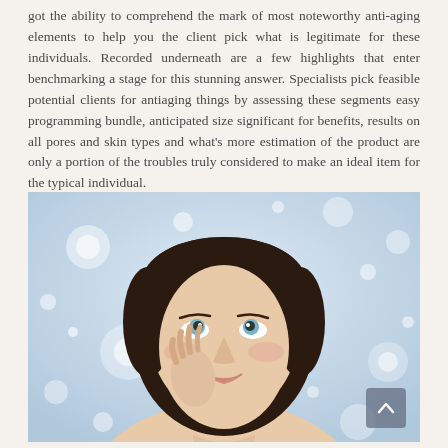got the ability to comprehend the mark of most noteworthy anti-aging elements to help you the client pick what is legitimate for these individuals. Recorded underneath are a few highlights that enter benchmarking a stage for this stunning answer. Specialists pick feasible potential clients for antiaging things by assessing these segments easy programming bundle, anticipated size significant for benefits, results on all pores and skin types and what's more estimation of the product are only a portion of the troubles truly considered to make an ideal item for the typical individual.
[Figure (photo): A woman with dark hair pulled back, eyes looking upward, hands touching her face/cheek, against a light blue background with white bokeh/snow circles.]